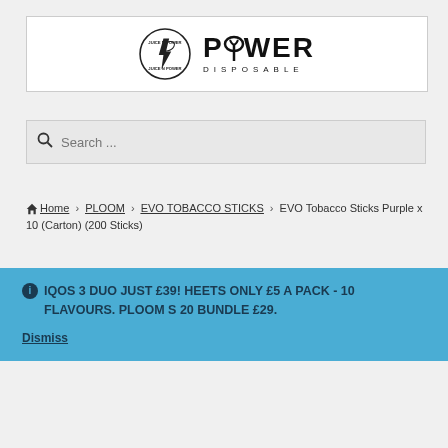[Figure (logo): Power Disposable logo with circular badge and bold POWER DISPOSABLE text]
Search ...
🏠 Home › PLOOM › EVO TOBACCO STICKS › EVO Tobacco Sticks Purple x 10 (Carton) (200 Sticks)
ℹ IQOS 3 DUO JUST £39! HEETS ONLY £5 A PACK - 10 FLAVOURS. PLOOM S 20 BUNDLE £29.
Dismiss